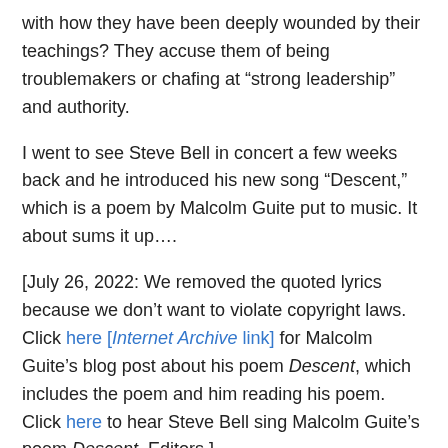with how they have been deeply wounded by their teachings? They accuse them of being troublemakers or chafing at “strong leadership” and authority.
I went to see Steve Bell in concert a few weeks back and he introduced his new song “Descent,” which is a poem by Malcolm Guite put to music. It about sums it up….
[July 26, 2022: We removed the quoted lyrics because we don’t want to violate copyright laws. Click here [Internet Archive link] for Malcolm Guite’s blog post about his poem Descent, which includes the poem and him reading his poem. Click here to hear Steve Bell sing Malcolm Guite’s poem Descent. Editors.]